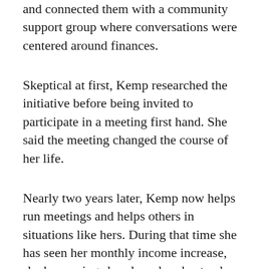and connected them with a community support group where conversations were centered around finances.
Skeptical at first, Kemp researched the initiative before being invited to participate in a meeting first hand. She said the meeting changed the course of her life.
Nearly two years later, Kemp now helps run meetings and helps others in situations like hers. During that time she has seen her monthly income increase, she has savings bonds and understands the importance of preparing for retirement. More importantly, she and her daughter are no longer homeless.
In 17 years, the Family Independence Initiative has enrolled 3,000 families — four people per household on average — and is operating in 14 different cities.